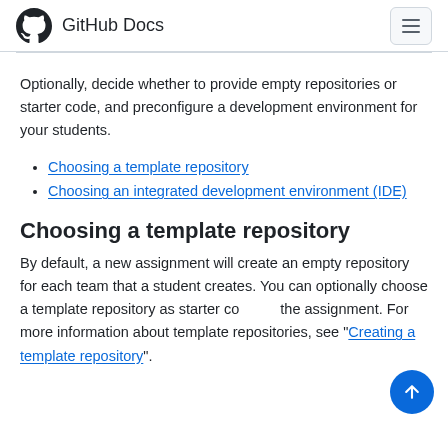GitHub Docs
Optionally, decide whether to provide empty repositories or starter code, and preconfigure a development environment for your students.
Choosing a template repository
Choosing an integrated development environment (IDE)
Choosing a template repository
By default, a new assignment will create an empty repository for each team that a student creates. You can optionally choose a template repository as starter code for the assignment. For more information about template repositories, see "Creating a template repository".